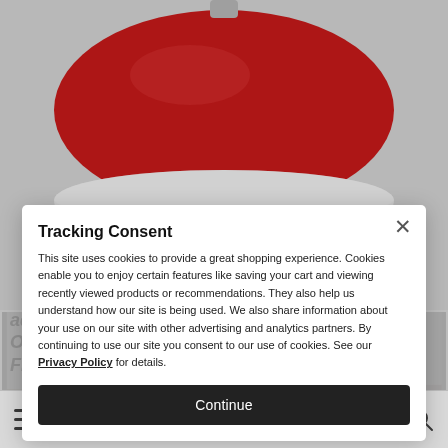[Figure (photo): Red pendant/semi-flush ceiling light fixture shown from below against light gray background]
[Figure (photo): Three thumbnail product images of the same red ceiling light in different room contexts]
ador Shiny Red with Polished Chrome Accents One-Light Semi-Flush...
Tracking Consent

This site uses cookies to provide a great shopping experience. Cookies enable you to enjoy certain features like saving your cart and viewing recently viewed products or recommendations. They also help us understand how our site is being used. We also share information about your use on our site with other advertising and analytics partners. By continuing to use our site you consent to our use of cookies. See our Privacy Policy for details.

Continue